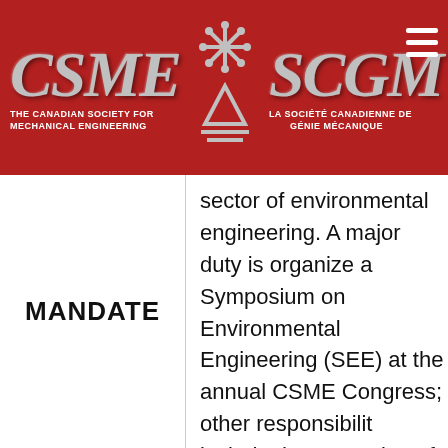[Figure (logo): CSME/SCGM logo header banner with red background. Left side shows 'CSME' in large silver italic letters with subtitle 'The Canadian Society for Mechanical Engineering'. Center shows a decorative snowflake/gear symbol above an anchor-like logo. Right side shows 'SCGM' in large silver italic letters with subtitle 'La Société canadienne de génie mécanique'. A hamburger menu icon appears top right.]
MANDATE
sector of environmental engineering. A major duty is organize a Symposium on Environmental Engineering (SEE) at the annual CSME Congress; other responsibilities include the promotion of TC opportunities within the environmental engineering community, participation in the SEE by submitting or review